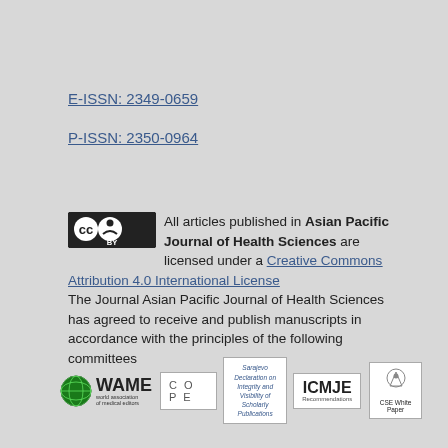E-ISSN: 2349-0659
P-ISSN: 2350-0964
All articles published in Asian Pacific Journal of Health Sciences are licensed under a Creative Commons Attribution 4.0 International License. The Journal Asian Pacific Journal of Health Sciences has agreed to receive and publish manuscripts in accordance with the principles of the following committees
[Figure (logo): Logos of WAME, COPE, Sarajevo Declaration on Integrity and Visibility of Scholarly Publications, ICMJE Recommendations, and CSE White Paper]